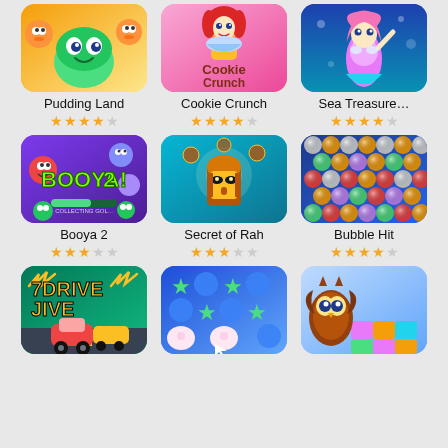[Figure (screenshot): App store grid showing mobile games: Pudding Land, Cookie Crunch, Sea Treasure (row 1), Booya 2, Secret of Rah, Bubble Hit (row 2), Drive Jive, a star/bubble match game, an owl puzzle game (row 3, partial)]
Pudding Land
Cookie Crunch
Sea Treasure...
Booya 2
Secret of Rah
Bubble Hit